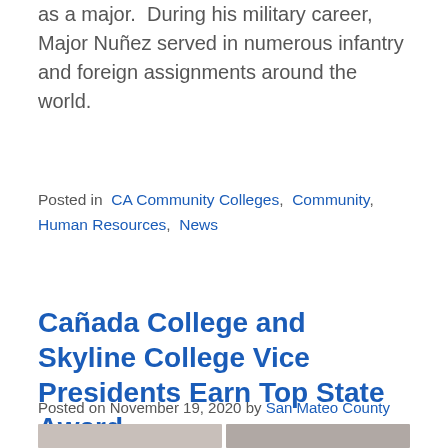as a major.  During his military career, Major Nuñez served in numerous infantry and foreign assignments around the world.
Posted in  CA Community Colleges,  Community,  Human Resources,  News
Cañada College and Skyline College Vice Presidents Earn Top State Award
Posted on November 19, 2020 by San Mateo County Community College District
[Figure (photo): Two head-and-shoulder photos of individuals side by side, partially visible at bottom of page.]